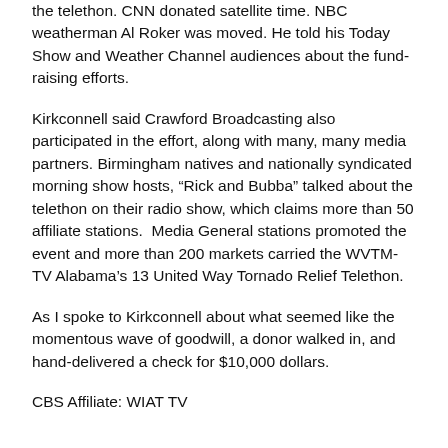the telethon. CNN donated satellite time. NBC weatherman Al Roker was moved. He told his Today Show and Weather Channel audiences about the fund-raising efforts.
Kirkconnell said Crawford Broadcasting also participated in the effort, along with many, many media partners. Birmingham natives and nationally syndicated morning show hosts, “Rick and Bubba” talked about the telethon on their radio show, which claims more than 50 affiliate stations. Media General stations promoted the event and more than 200 markets carried the WVTM-TV Alabama’s 13 United Way Tornado Relief Telethon.
As I spoke to Kirkconnell about what seemed like the momentous wave of goodwill, a donor walked in, and hand-delivered a check for $10,000 dollars.
CBS Affiliate: WIAT TV